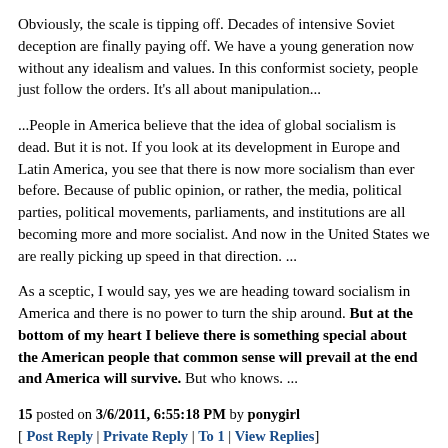Obviously, the scale is tipping off. Decades of intensive Soviet deception are finally paying off. We have a young generation now without any idealism and values. In this conformist society, people just follow the orders. It’s all about manipulation...
...People in America believe that the idea of global socialism is dead. But it is not. If you look at its development in Europe and Latin America, you see that there is now more socialism than ever before. Because of public opinion, or rather, the media, political parties, political movements, parliaments, and institutions are all becoming more and more socialist. And now in the United States we are really picking up speed in that direction. ...
As a sceptic, I would say, yes we are heading toward socialism in America and there is no power to turn the ship around. But at the bottom of my heart I believe there is something special about the American people that common sense will prevail at the end and America will survive. But who knows. ...
15 posted on 3/6/2011, 6:55:18 PM by ponygirl
[ Post Reply | Private Reply | To 1 | View Replies]
To: Hardraade
They did this back in old England, you know. Or tried to. Vagrancy laws designed to remove mobility, address, the need for income...